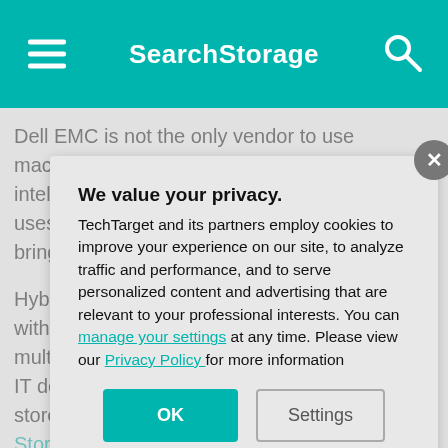SearchStorage
Dell EMC is not the only vendor to use machine learning to make storage more intelligent. Hewlett Packard Enterprise (HPE) uses machine learning for data analytics to bring intelligence to hybrid cloud storage.
Hybrid cloud environments combine private cloud within an organization's own data center with multiple public cloud services. This requires the IT department to determine where data should be stored and to identify the appropriate resources. Storage technology that uses machine learning and the underlying resources can automatically select the optimal location for data based on performance, price, security, data protection, and available capacity needs. The technology also adapts to changes in the environment.
We value your privacy.
TechTarget and its partners employ cookies to improve your experience on our site, to analyze traffic and performance, and to serve personalized content and advertising that are relevant to your professional interests. You can manage your settings at any time. Please view our Privacy Policy for more information